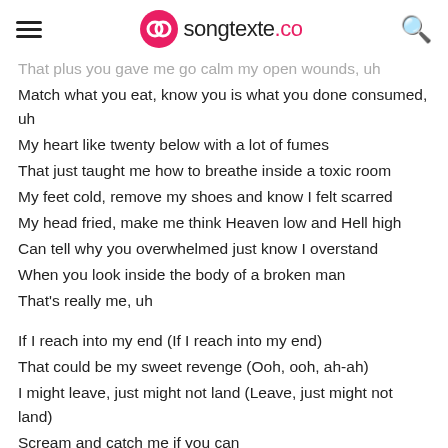songtexte.co
That plus you gave me go calm my open wounds, uh
Match what you eat, know you is what you done consumed, uh
My heart like twenty below with a lot of fumes
That just taught me how to breathe inside a toxic room
My feet cold, remove my shoes and know I felt scarred
My head fried, make me think Heaven low and Hell high
Can tell why you overwhelmed just know I overstand
When you look inside the body of a broken man
That's really me, uh
If I reach into my end (If I reach into my end)
That could be my sweet revenge (Ooh, ooh, ah-ah)
I might leave, just might not land (Leave, just might not land)
Scream and catch me if you can
Niggas swear blamin' their daddy issues is gonna heal 'em
Like ...